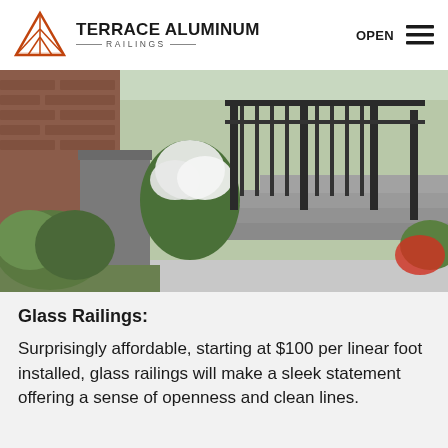TERRACE ALUMINUM RAILINGS
[Figure (photo): Outdoor staircase with dark aluminum railings surrounded by green plants and white hydrangea flowers, brick wall in background, gray concrete steps]
Glass Railings:
Surprisingly affordable, starting at $100 per linear foot installed, glass railings will make a sleek statement offering a sense of openness and clean lines.